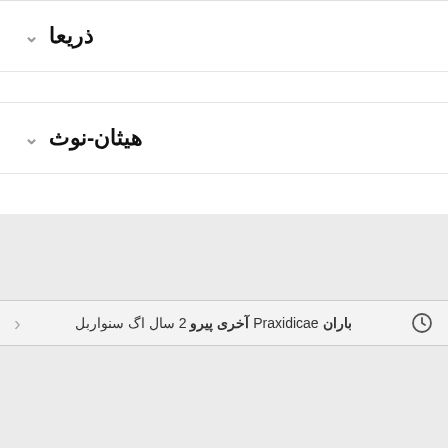ذریعا
هیثان-نوث
Praxidicae باران آخری پیرو 2 سال اگ سنواربل